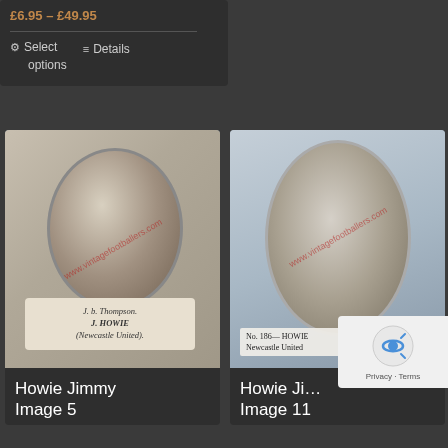£6.95 – £49.95
Select options
Details
[Figure (photo): Vintage cigarette card showing J. Howie of Newcastle United in a circular portrait, wearing striped football kit. Scroll banner at bottom reads: J. b. Thompson. / J. HOWIE / (Newcastle United). Watermark: www.vintagefootballers.com]
Howie Jimmy Image 5
[Figure (photo): Vintage cigarette card showing Howie of Newcastle United in an oval portrait. Text at bottom: No. 186 — HOWIE / Newcastle United. Watermark: www.vintagefootballers.com]
Howie Ji... Image 11